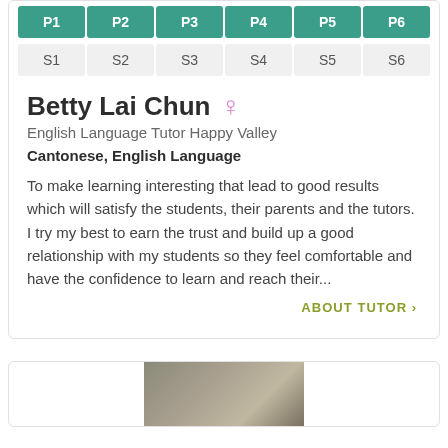| P1 | P2 | P3 | P4 | P5 | P6 |
| --- | --- | --- | --- | --- | --- |
| S1 | S2 | S3 | S4 | S5 | S6 |
Betty Lai Chun
English Language Tutor Happy Valley
Cantonese, English Language
To make learning interesting that lead to good results which will satisfy the students, their parents and the tutors. I try my best to earn the trust and build up a good relationship with my students so they feel comfortable and have the confidence to learn and reach their...
ABOUT TUTOR >
[Figure (photo): Partial photo of a tutor visible at bottom of page]